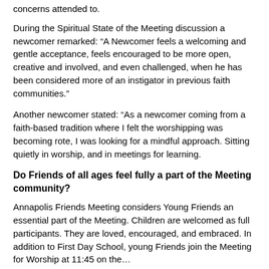concerns attended to.
During the Spiritual State of the Meeting discussion a newcomer remarked: “A Newcomer feels a welcoming and gentle acceptance, feels encouraged to be more open, creative and involved, and even challenged, when he has been considered more of an instigator in previous faith communities.”
Another newcomer stated: “As a newcomer coming from a faith-based tradition where I felt the worshipping was becoming rote, I was looking for a mindful approach. Sitting quietly in worship, and in meetings for learning.
Do Friends of all ages feel fully a part of the Meeting community?
Annapolis Friends Meeting considers Young Friends an essential part of the Meeting. Children are welcomed as full participants. They are loved, encouraged, and embraced. In addition to First Day School, young Friends join the Meeting for Worship at 11:45 on the...